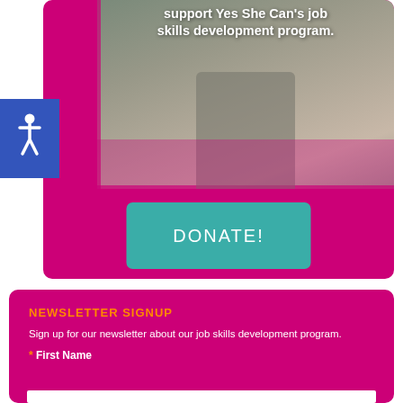[Figure (photo): Photo of a person at a counter or workspace, partially visible, set within a magenta-bordered card. Overlay text reads: 'support Yes She Can's job skills development program.']
support Yes She Can's job skills development program.
DONATE!
NEWSLETTER SIGNUP
Sign up for our newsletter about our job skills development program.
* First Name